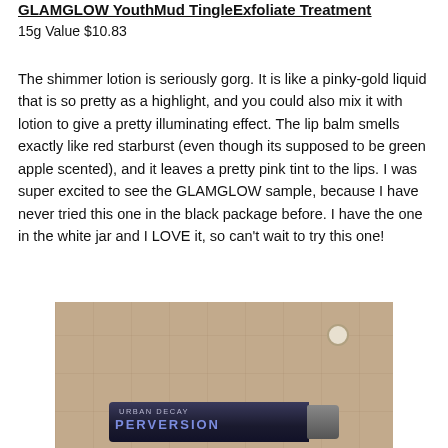GLAMGLOW YouthMud TingleExfoliate Treatment
15g Value $10.83
The shimmer lotion is seriously gorg. It is like a pinky-gold liquid that is so pretty as a highlight, and you could also mix it with lotion to give a pretty illuminating effect. The lip balm smells exactly like red starburst (even though its supposed to be green apple scented), and it leaves a pretty pink tint to the lips. I was super excited to see the GLAMGLOW sample, because I have never tried this one in the black package before. I have the one in the white jar and I LOVE it, so can't wait to try this one!
[Figure (photo): Photo of an Urban Decay Perversion mascara tube lying on a stone tile surface]